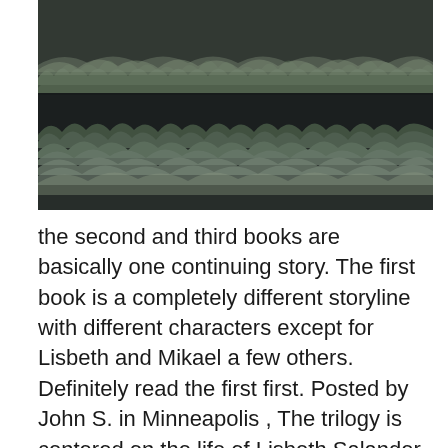[Figure (photo): Aerial or ground-level photo of a dark landscape with two strips of frosted or winter grass (top and bottom) separated by a wide band of dark earth or road. The image has a cold, muted color tone with dark teal-green grass.]
the second and third books are basically one continuing story. The first book is a completely different storyline with different characters except for Lisbeth and Mikael a few others. Definitely read the first first. Posted by John S. in Minneapolis , The trilogy is centered on the life of Lisbeth Salander who is a punk style computer hacker. His other primary character is Mikail Blomkvist who is a